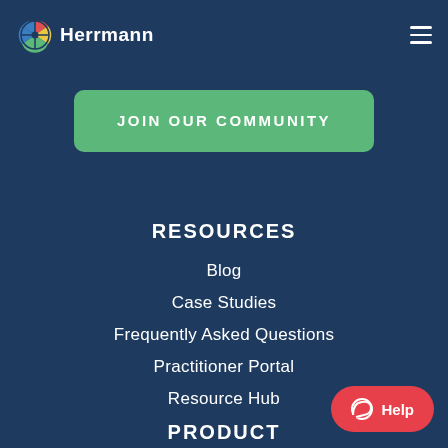[Figure (logo): Herrmann brain logo with colored quadrants (blue, red, yellow, green) and text 'Herrmann']
[Figure (other): Hamburger menu icon (three horizontal lines) in top right corner]
JOIN OUR COMMUNITY
RESOURCES
Blog
Case Studies
Frequently Asked Questions
Practitioner Portal
Resource Hub
PRODUCT
[Figure (other): Red help button with chat bubble icon and 'Help' text in bottom right corner]